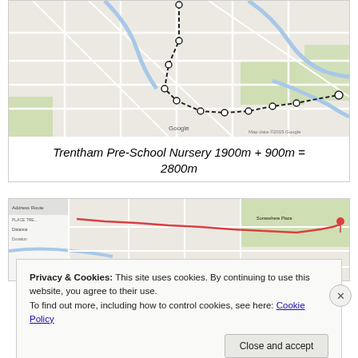[Figure (map): Google map showing a route with dashed black line and circular waypoints, streets of a UK town, with blue rivers and green parks, yellow road highlight on left side]
Trentham Pre-School Nursery 1900m + 900m = 2800m
[Figure (map): Google map showing a route with a red destination pin marker, streets and green park area, with a red route line]
Privacy & Cookies: This site uses cookies. By continuing to use this website, you agree to their use.
To find out more, including how to control cookies, see here: Cookie Policy
Close and accept